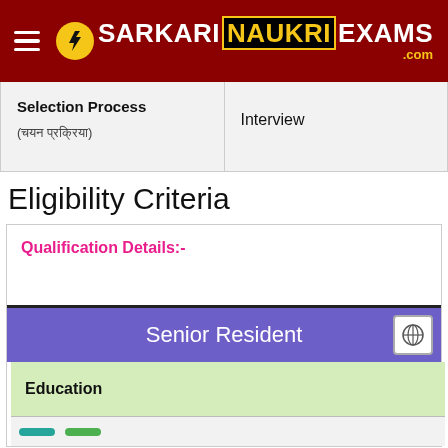[Figure (logo): Sarkari Naukri Exams .com logo with hamburger menu on dark red header background]
| Selection Process (चयन प्रक्रिया) | Interview |
| --- | --- |
Eligibility Criteria
Qualification Details:-
Senior Resident
Education